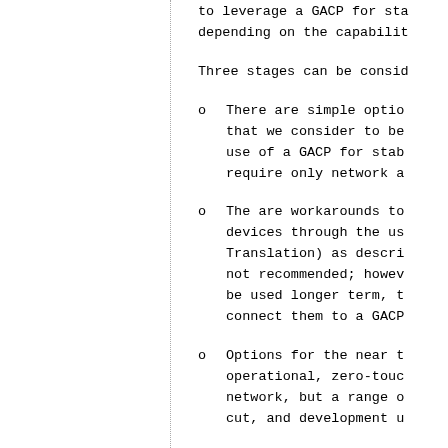to leverage a GACP for sta... depending on the capabilit...
Three stages can be consid...
There are simple option... that we consider to be... use of a GACP for stabi... require only network an...
The are workarounds to... devices through the use... Translation) as describ... not recommended; howeve... be used longer term, th... connect them to a GACP...
Options for the near to... operational, zero-touch... network, but a range of... cut, and development u...